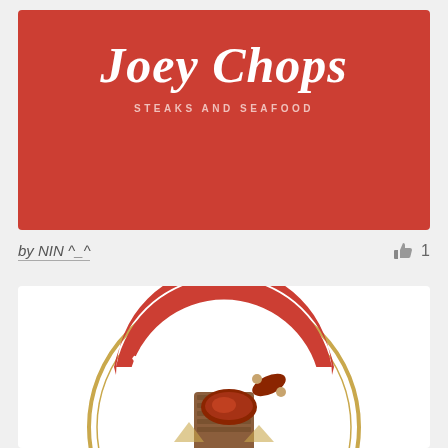[Figure (logo): Joey Chops Steaks and Seafood logo on red background with white script text and subtitle]
by NIN ^_^
1
[Figure (logo): Meat Lovers circular badge logo with meat and sausage illustration on wooden board, red and gold color scheme]